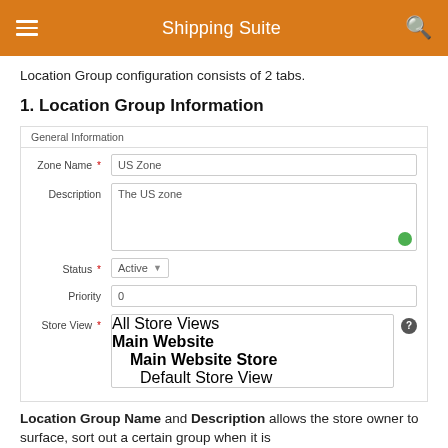Shipping Suite
Location Group configuration consists of 2 tabs.
1. Location Group Information
[Figure (screenshot): A form with General Information fields: Zone Name (US Zone), Description (The US zone), Status (Active dropdown), Priority (0), Store View (dropdown showing All Store Views, Main Website, Main Website Store, Default Store View)]
Location Group Name and Description allows the store owner to surface, sort out a certain group when it is